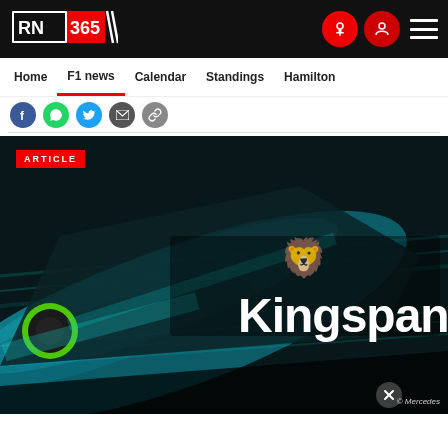RN 365 — navigation header with logo, mic icon, user icon, and menu
[Figure (logo): RN365 logo in black and red with diagonal stripe motif]
Home  F1 news  Calendar  Standings  Hamilton
[Figure (infographic): Social share icons row: Facebook (blue), WhatsApp (green), Twitter (blue), Email (dark), Link (grey)]
[Figure (photo): Close-up of a Mercedes Formula 1 car bodywork with Kingspan sponsor logo and lion graphic. Dark teal and black color scheme with motion blur effect. © Mercedes watermark bottom right.]
ARTICLE
© Mercedes